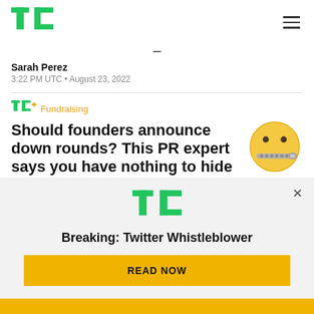TechCrunch
Sarah Perez
3:22 PM UTC • August 23, 2022
Should founders announce down rounds? This PR expert says you have nothing to hide
[Figure (illustration): Zipper-mouth face emoji (🤐) — yellow round face with zipper over mouth and dot eyes]
[Figure (logo): TechCrunch TC logo in green, with notification banner: 'Breaking: Twitter Whistleblower' and a yellow READ NOW button]